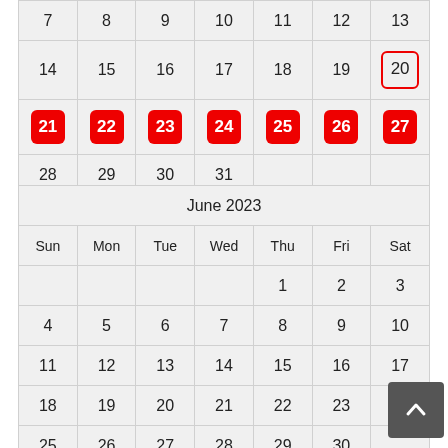| 7 | 8 | 9 | 10 | 11 | 12 | 13 |
| 14 | 15 | 16 | 17 | 18 | 19 | 20(outlined) |
| 21(red) | 22(red) | 23(red) | 24(red) | 25(red) | 26(red) | 27(red) |
| 28 | 29 | 30 | 31 |  |  |  |
June 2023
| Sun | Mon | Tue | Wed | Thu | Fri | Sat |
| --- | --- | --- | --- | --- | --- | --- |
|  |  |  |  | 1 | 2 | 3 |
| 4 | 5 | 6 | 7 | 8 | 9 | 10 |
| 11 | 12 | 13 | 14 | 15 | 16 | 17 |
| 18 | 19 | 20 | 21 | 22 | 23 | 24 |
| 25 | 26 | 27 | 28 | 29 | 30 |  |